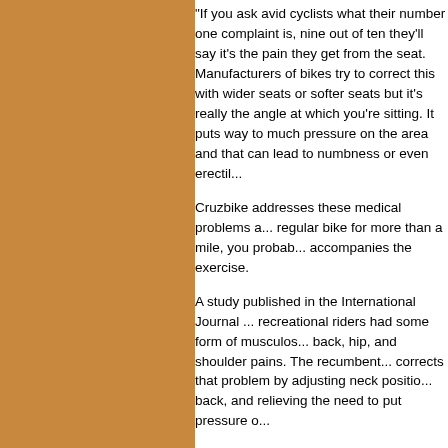[Figure (illustration): A tan/brown rectangular panel on the left side of the page]
"If you ask avid cyclists what their number one complaint is, nine out of ten they'll say it's the pain they get from the seat. Manufacturers of bikes try to correct this with wider seats or softer seats but it's really the angle at which you're sitting. It puts way too much pressure on the area and that can lead to numbness or even erectil...
Cruzbike addresses these medical problems a... regular bike for more than a mile, you probably... accompanies the exercise.
A study published in the International Journal ... recreational riders had some form of musculosk... back, hip, and shoulder pains. The recumbent... corrects that problem by adjusting neck positio... back, and relieving the need to put pressure o...
Recumbent bikes may prove far better than re... impacts since the force of the collision is taken... the rider is in a head-up position instead of the... tuck, thus reducing the risk of a collision in the...
Cycling enthusiasts may want to trade in their... because they want a new type of workout that... straining the very muscles that keep them goin... working out of his home in Australia, credits th... doubling the average riding time. "When you...